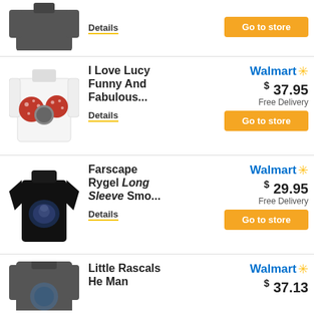[Figure (photo): Dark gray long sleeve shirt, partially cropped at top]
Details
Go to store
[Figure (photo): White long sleeve I Love Lucy shirt with red and white polka dot balloons graphic]
I Love Lucy Funny And Fabulous...
Details
Walmart $37.95 Free Delivery Go to store
[Figure (photo): Black fitted short sleeve Farscape shirt with Rygel graphic]
Farscape Rygel Long Sleeve Smo...
Details
Walmart $29.95 Free Delivery Go to store
[Figure (photo): Dark gray long sleeve Little Rascals He Man shirt, partially cropped]
Little Rascals He Man
Walmart $37.13